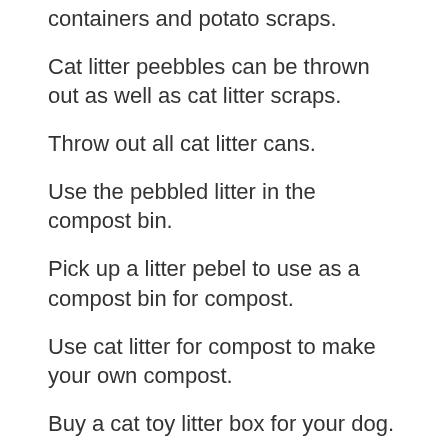containers and potato scraps.
Cat litter peebbles can be thrown out as well as cat litter scraps.
Throw out all cat litter cans.
Use the pebbled litter in the compost bin.
Pick up a litter pebel to use as a compost bin for compost.
Use cat litter for compost to make your own compost.
Buy a cat toy litter box for your dog.
You may not have to buy a cat toys litter box